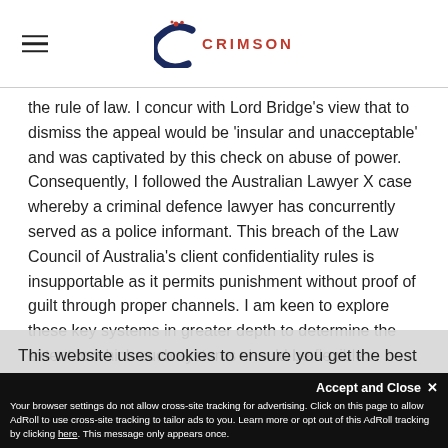CRIMSON (logo)
the rule of law. I concur with Lord Bridge's view that to dismiss the appeal would be 'insular and unacceptable' and was captivated by this check on abuse of power. Consequently, I followed the Australian Lawyer X case whereby a criminal defence lawyer has concurrently served as a police informant. This breach of the Law Council of Australia's client confidentiality rules is insupportable as it permits punishment without proof of guilt through proper channels. I am keen to explore these key systems in greater depth to determine the extent to which such systems should be flexible.
I have best experience on our website. Learn more frameworks operate comparatively by visiting.
This website uses cookies to ensure you get the best experience on our website. Learn more
Accept and Close ✕
Your browser settings do not allow cross-site tracking for advertising. Click on this page to allow AdRoll to use cross-site tracking to tailor ads to you. Learn more or opt out of this AdRoll tracking by clicking here. This message only appears once.